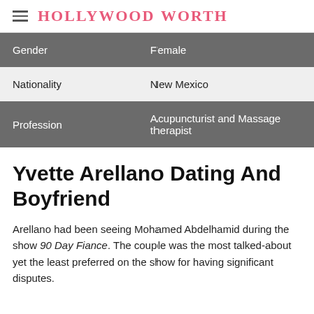HOLLYWOOD WORTH
| Gender | Female |
| Nationality | New Mexico |
| Profession | Acupuncturist and Massage therapist |
Yvette Arellano Dating And Boyfriend
Arellano had been seeing Mohamed Abdelhamid during the show 90 Day Fiance. The couple was the most talked-about yet the least preferred on the show for having significant disputes.